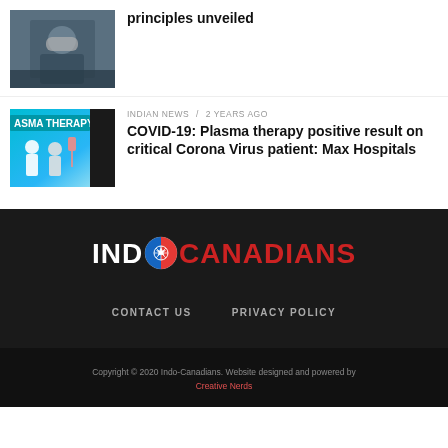principles unveiled
[Figure (photo): Thumbnail photo of a person wearing a mask in uniform]
INDIAN NEWS / 2 years ago
COVID-19: Plasma therapy positive result on critical Corona Virus patient: Max Hospitals
[Figure (illustration): Plasma therapy illustration with medical figures on teal background with text ASMA THERAPY]
[Figure (logo): Indo-Canadians logo with circular emblem between IND and CANADIANS text on dark background]
CONTACT US    PRIVACY POLICY
Copyright © 2020 Indo-Canadians. Website designed and powered by Creative Nerds